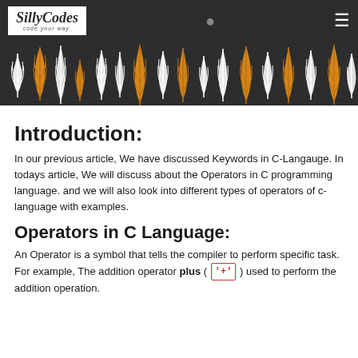SillyCodes — code your way.
[Figure (illustration): Dark banner with orange and white botanical/leaf pattern repeating horizontally]
Introduction:
In our previous article, We have discussed Keywords in C-Langauge. In todays article, We will discuss about the Operators in C programming language. and we will also look into different types of operators of c-language with examples.
Operators in C Language:
An Operator is a symbol that tells the compiler to perform specific task. For example, The addition operator plus ( '+' ) used to perform the addition operation.